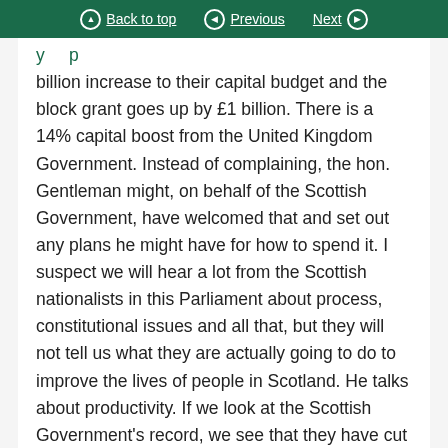Back to top | Previous | Next
billion increase to their capital budget and the block grant goes up by £1 billion. There is a 14% capital boost from the United Kingdom Government. Instead of complaining, the hon. Gentleman might, on behalf of the Scottish Government, have welcomed that and set out any plans he might have for how to spend it. I suspect we will hear a lot from the Scottish nationalists in this Parliament about process, constitutional issues and all that, but they will not tell us what they are actually going to do to improve the lives of people in Scotland. He talks about productivity. If we look at the Scottish Government's record, we see that they have cut 140,000 further education college places in Scotland. They have used the money they have